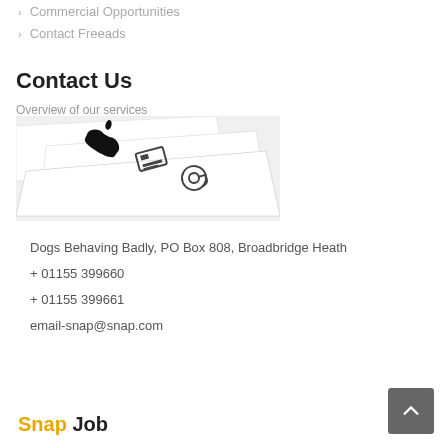Commercial Opportunities
Contact Freeads
Contact Us
Overview of our services
[Figure (photo): Angled view of contact icons: telephone handset, fax/printer, and email @ symbol on white card-like surfaces]
Dogs Behaving Badly, PO Box 808, Broadbridge Heath
+ 01155 399660
+ 01155 399661
email-snap@snap.com
Snap Job